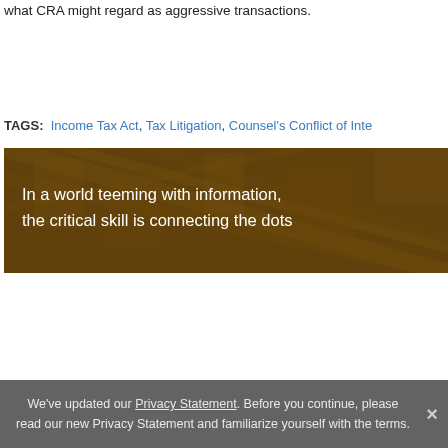what CRA might regard as aggressive transactions.
TAGS: Income Tax Act, Tax Litigation, Counsel's Conflict of Inte…
[Figure (illustration): Aerial view city banner with amber/sepia overlay and text: 'In a world teeming with information, the critical skill is connecting the dots']
We've updated our Privacy Statement. Before you continue, please read our new Privacy Statement and familiarize yourself with the terms.